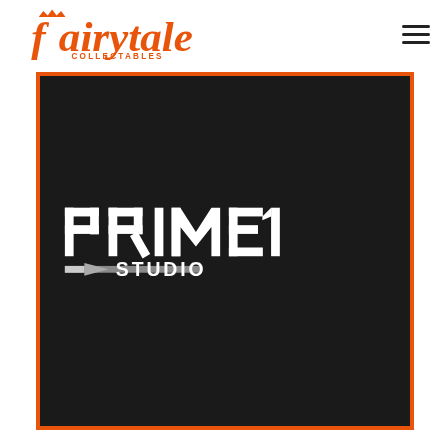fairytale COLLECTABLES
[Figure (logo): Prime 1 Studio logo on black background with orange border frame]